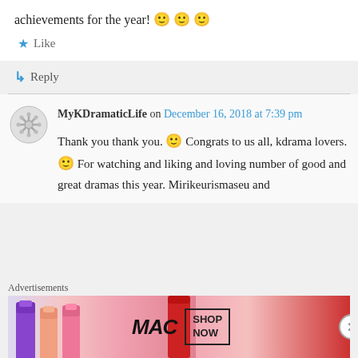achievements for the year! 🙂 🙂 🙂
★ Like
↳ Reply
MyKDramaticLife on December 16, 2018 at 7:39 pm
Thank you thank you. 🙂 Congrats to us all, kdrama lovers. 🙂 For watching and liking and loving number of good and great dramas this year. Mirikeurismaseu and
Advertisements
[Figure (photo): MAC Cosmetics advertisement banner showing lipsticks in purple, pink, and red colors with MAC logo and SHOP NOW button]